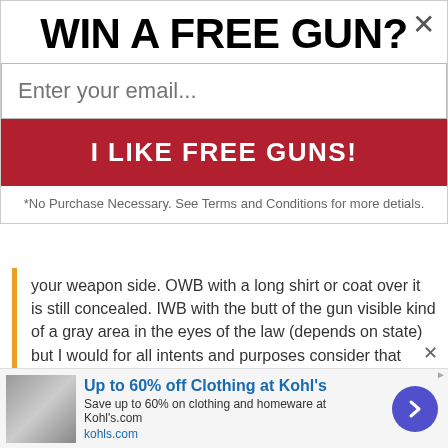WIN A FREE GUN?
Enter your email...
I LIKE FREE GUNS!
*No Purchase Necessary. See Terms and Conditions for more detials.
your weapon side. OWB with a long shirt or coat over it is still concealed. IWB with the butt of the gun visible kind of a gray area in the eyes of the law (depends on state) but I would for all intents and purposes consider that open carry as well.
In Indiana it really doesn't make a difference if you OC or CC, if you are in a state that it does make a difference, make sure you get the
Click to expand...
Yeah i know that's how i look at it as well. But some people look
Up to 60% off Clothing at Kohl's
Save up to 60% on clothing and homeware at Kohl's.com
kohls.com